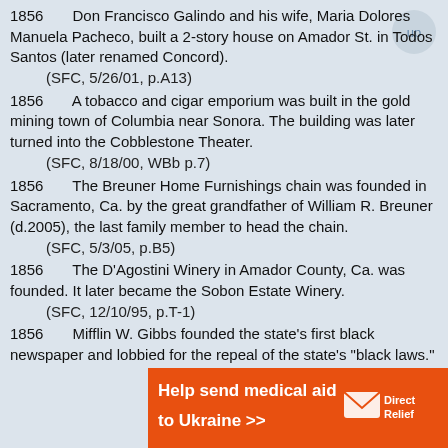1856  Don Francisco Galindo and his wife, Maria Dolores Manuela Pacheco, built a 2-story house on Amador St. in Todos Santos (later renamed Concord).
    (SFC, 5/26/01, p.A13)
1856  A tobacco and cigar emporium was built in the gold mining town of Columbia near Sonora. The building was later turned into the Cobblestone Theater.
    (SFC, 8/18/00, WBb p.7)
1856  The Breuner Home Furnishings chain was founded in Sacramento, Ca. by the great grandfather of William R. Breuner (d.2005), the last family member to head the chain.
    (SFC, 5/3/05, p.B5)
1856  The D'Agostini Winery in Amador County, Ca. was founded. It later became the Sobon Estate Winery.
    (SFC, 12/10/95, p.T-1)
1856  Mifflin W. Gibbs founded the state's first black newspaper and lobbied for the repeal of the state's "black laws."
[Figure (infographic): Orange advertisement banner reading 'Help send medical aid to Ukraine >>' with DirectRelief logo on the right side]